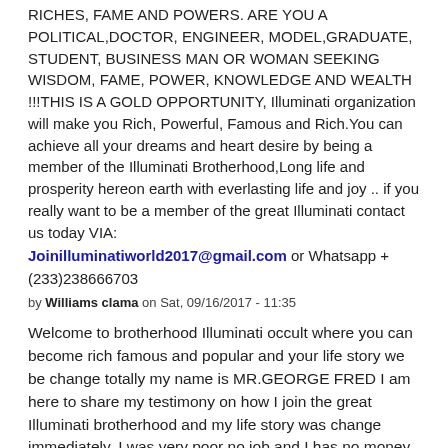RICHES, FAME AND POWERS. ARE YOU A POLITICAL,DOCTOR, ENGINEER, MODEL,GRADUATE, STUDENT, BUSINESS MAN OR WOMAN SEEKING WISDOM, FAME, POWER, KNOWLEDGE AND WEALTH !!!THIS IS A GOLD OPPORTUNITY, Illuminati organization will make you Rich, Powerful, Famous and Rich.You can achieve all your dreams and heart desire by being a member of the Illuminati Brotherhood,Long life and prosperity hereon earth with everlasting life and joy .. if you really want to be a member of the great Illuminati contact us today VIA:
Joinilluminatiworld2017@gmail.com or Whatsapp +(233)238666703
by Williams clama on Sat, 09/16/2017 - 11:35
Welcome to brotherhood Illuminati occult where you can become rich famous and popular and your life story we be change totally my name is MR.GEORGE FRED I am here to share my testimony on how I join the great Illuminati brotherhood and my life story was change immediately. I was very poor no job and I has no money to even feed and take care of my family I was confuse in life I don't know what to do I try all my possible best to get money but no one work out for me each day I share tears, I was just looking out my